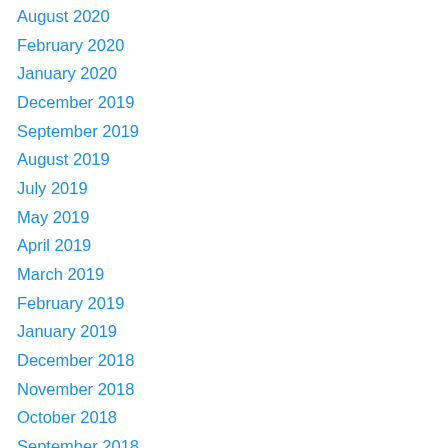August 2020
February 2020
January 2020
December 2019
September 2019
August 2019
July 2019
May 2019
April 2019
March 2019
February 2019
January 2019
December 2018
November 2018
October 2018
September 2018
August 2018
July 2018
June 2018
May 2018